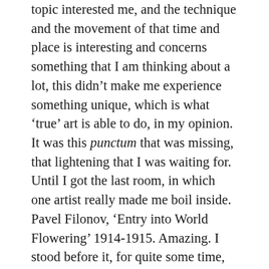topic interested me, and the technique and the movement of that time and place is interesting and concerns something that I am thinking about a lot, this didn't make me experience something unique, which is what 'true' art is able to do, in my opinion. It was this punctum that was missing, that lightening that I was waiting for. Until I got the last room, in which one artist really made me boil inside. Pavel Filonov, 'Entry into World Flowering' 1914-1915. Amazing. I stood before it, for quite some time, not analyzing it, not trying to find out what this experience was. No meta-level. Just enjoying the amazing-ness. It was indescribable.